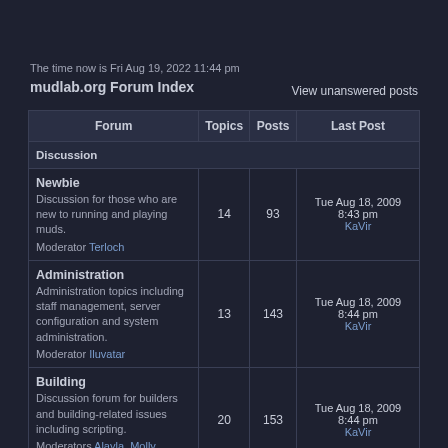The time now is Fri Aug 19, 2022 11:44 pm
mudlab.org Forum Index
View unanswered posts
| Forum | Topics | Posts | Last Post |
| --- | --- | --- | --- |
| Discussion |  |  |  |
| Newbie
Discussion for those who are new to running and playing muds.
Moderator Terloch | 14 | 93 | Tue Aug 18, 2009 8:43 pm
KaVir |
| Administration
Administration topics including staff management, server configuration and system administration.
Moderator Iluvatar | 13 | 143 | Tue Aug 18, 2009 8:44 pm
KaVir |
| Building
Discussion forum for builders and building-related issues including scripting.
Moderators Alayla, Molly O'Hara | 20 | 153 | Tue Aug 18, 2009 8:44 pm
KaVir |
| Coding |  |  |  |